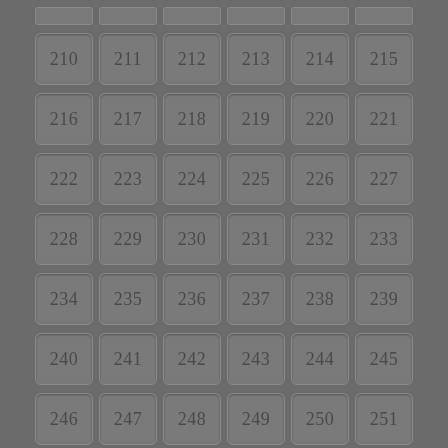[Figure (other): Grid of numbered cells (210-263) arranged in rows and columns on a dark gray background, with a scroll-up arrow button at position 257.]